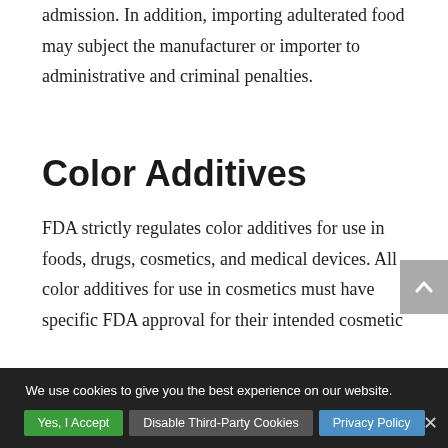admission. In addition, importing adulterated food may subject the manufacturer or importer to administrative and criminal penalties.
Color Additives
FDA strictly regulates color additives for use in foods, drugs, cosmetics, and medical devices. All color additives for use in cosmetics must have specific FDA approval for their intended cosmetic application. FDA requires that color additives…
We use cookies to give you the best experience on our website.